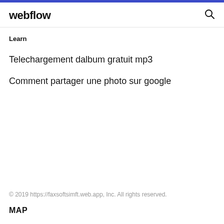webflow
Learn
Telechargement dalbum gratuit mp3
Comment partager une photo sur google
© 2019 https://faxsoftsimft.web.app, Inc. All rights reserved.
MAP